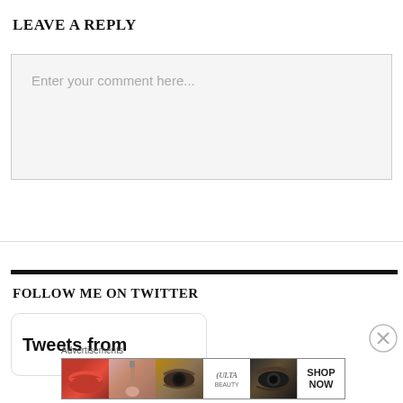LEAVE A REPLY
Enter your comment here...
FOLLOW ME ON TWITTER
Tweets from
Advertisements
[Figure (other): ULTA beauty advertisement banner showing makeup images: lips with brush, eye, ULTA logo, smoky eye, and SHOP NOW button]